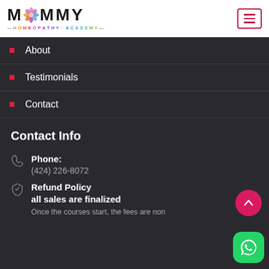MOMMY HOMEOPATHY ACADEMY
About
Testimonials
Contact
Contact Info
Phone: (424) 226-8072
Refund Policy
all sales are finalized
Once the courses start, the fees are non